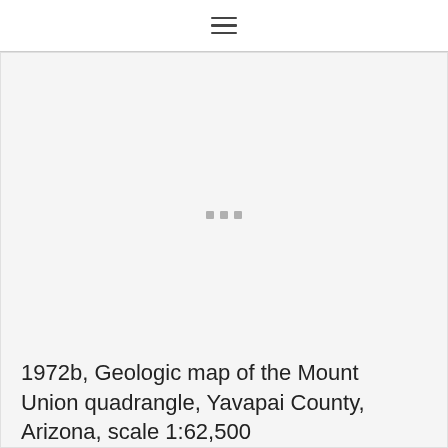≡
[Figure (other): Loading spinner with three small square dots centered in a large light gray content area placeholder]
1972b, Geologic map of the Mount Union quadrangle, Yavapai County, Arizona, scale 1:62,500